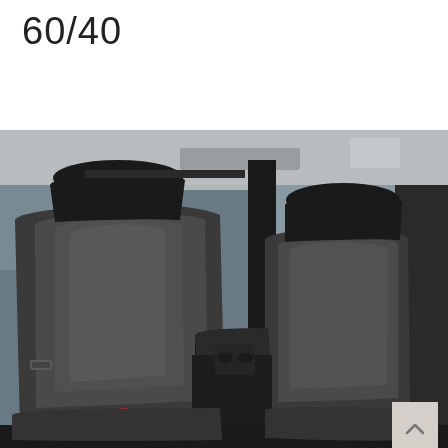60/40
[Figure (photo): Interior view of a truck cabin showing 60/40 split front seat with dark charcoal fabric seat covers, black headrests, center console with armrest, and large side windows showing exterior scenery.]